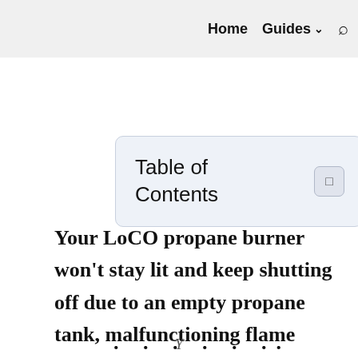Home  Guides ∨  🔍
Table of Contents
Your LoCO propane burner won't stay lit and keep shutting off due to an empty propane tank, malfunctioning flame ...